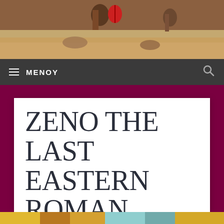[Figure (photo): Top portion of a historical battle or Roman scene painting, showing figures with a red shield on a warm brown background]
≡ MENOY
ZENO THE LAST EASTERN ROMAN EMPEROR
[Figure (photo): Bottom strip of a Byzantine or medieval illuminated artwork with gold, teal and yellow colors]